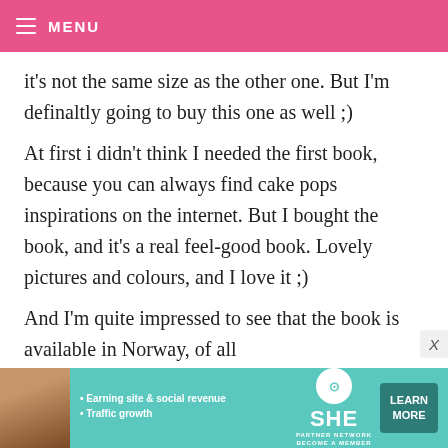MENU
it's not the same size as the other one. But I'm definaltly going to buy this one as well ;)
At first i didn't think I needed the first book, because you can always find cake pops inspirations on the internet. But I bought the book, and it's a real feel-good book. Lovely pictures and colours, and I love it ;)
And I'm quite impressed to see that the book is available in Norway, of all places for pre-ordering. I might just do
[Figure (infographic): Advertisement banner for SHE Partner Network with photo of woman, bullet points about earning and traffic growth, SHE logo, and Learn More button]